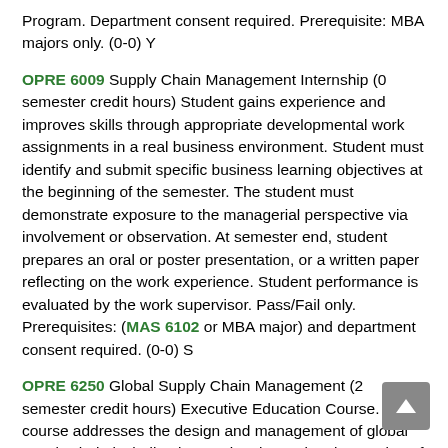Program. Department consent required. Prerequisite: MBA majors only. (0-0) Y
OPRE 6009 Supply Chain Management Internship (0 semester credit hours) Student gains experience and improves skills through appropriate developmental work assignments in a real business environment. Student must identify and submit specific business learning objectives at the beginning of the semester. The student must demonstrate exposure to the managerial perspective via involvement or observation. At semester end, student prepares an oral or poster presentation, or a written paper reflecting on the work experience. Student performance is evaluated by the work supervisor. Pass/Fail only. Prerequisites: (MAS 6102 or MBA major) and department consent required. (0-0) S
OPRE 6250 Global Supply Chain Management (2 semester credit hours) Executive Education Course. This course addresses the design and management of global supply chain including international sourcing, integration of suppliers and